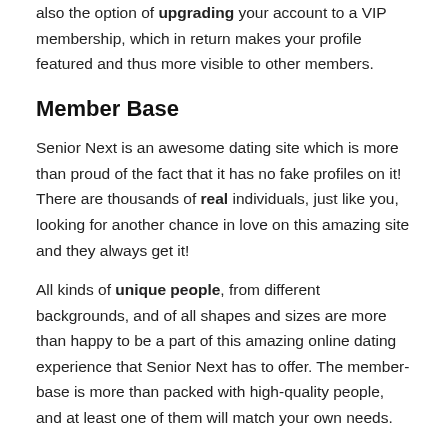also the option of upgrading your account to a VIP membership, which in return makes your profile featured and thus more visible to other members.
Member Base
Senior Next is an awesome dating site which is more than proud of the fact that it has no fake profiles on it! There are thousands of real individuals, just like you, looking for another chance in love on this amazing site and they always get it!
All kinds of unique people, from different backgrounds, and of all shapes and sizes are more than happy to be a part of this amazing online dating experience that Senior Next has to offer. The member-base is more than packed with high-quality people, and at least one of them will match your own needs.